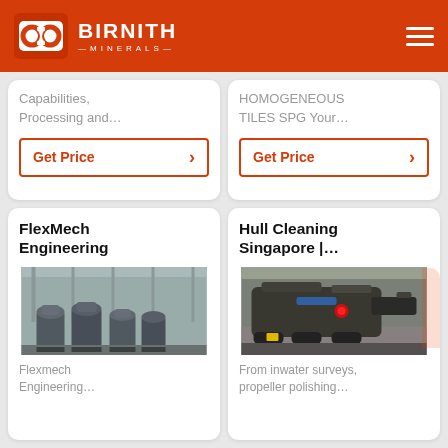[Figure (logo): Birnith Minerals logo on orange header background with hamburger menu icon]
Capabilities, Processing and…
Get Price
HOMOGENEOUS TILES SPG Your…
Get Price
FlexMech Engineering
[Figure (photo): Industrial machinery - large grey grinding/milling machines in a factory floor]
Flexmech Engineering…
Hull Cleaning Singapore |…
[Figure (photo): Hull cleaning equipment - industrial underwater cleaning machine with robotic arms]
From inwater surveys, propeller polishing…